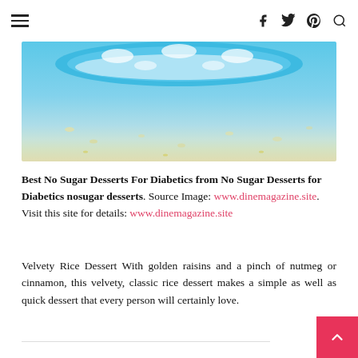Navigation header with hamburger menu and social icons (f, twitter, pinterest, search)
[Figure (photo): A blue bowl with white polka dots viewed from above, sitting on a light background with scattered ingredients.]
Best No Sugar Desserts For Diabetics from No Sugar Desserts for Diabetics nosugar desserts. Source Image: www.dinemagazine.site. Visit this site for details: www.dinemagazine.site
Velvety Rice Dessert With golden raisins and a pinch of nutmeg or cinnamon, this velvety, classic rice dessert makes a simple as well as quick dessert that every person will certainly love.